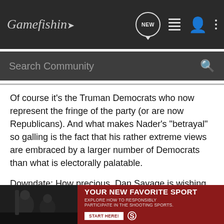Gamefishin (logo) | NEW | list icon | user icon | menu icon
Search Community
Of course it's the Truman Democrats who now represent the fringe of the party (or are now Republicans). And what makes Nader's "betrayal" so galling is the fact that his rather extreme views are embraced by a larger number of Democrats than what is electorally palatable.
Downdate: How precious. Dan Savage is wishing for Ralph Nader to be assassinated over on Slog.
"In a perfect world the Secret Service wouldn't have to screen Obama's crowds - and Ralph Nader would have to worry about his security."
Oh those writers at the Stranger. So hip and edgy with their provoca...
[Figure (photo): Advertisement banner: YOUR NEW FAVORITE SPORT - EXPLORE HOW TO RESPONSIBLY PARTICIPATE IN THE SHOOTING SPORTS. START HERE! with photo of people in background.]